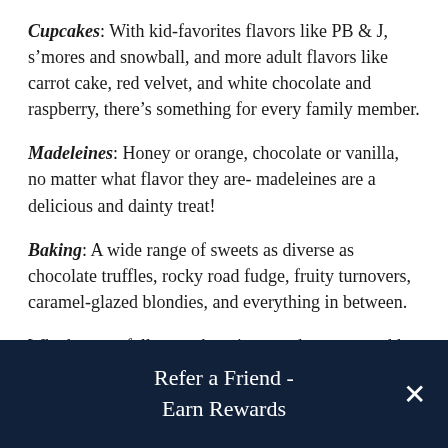Cupcakes: With kid-favorites flavors like PB & J, s’mores and snowball, and more adult flavors like carrot cake, red velvet, and white chocolate and raspberry, there’s something for every family member.
Madeleines: Honey or orange, chocolate or vanilla, no matter what flavor they are- madeleines are a delicious and dainty treat!
Baking: A wide range of sweets as diverse as chocolate truffles, rocky road fudge, fruity turnovers, caramel-glazed blondies, and everything in between.
Whether you follow each recipe step-by-step or add your own unique twist, baking is a great opportunity
Refer a Friend - Earn Rewards